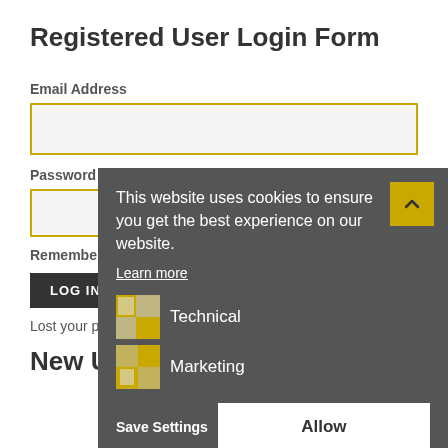Registered User Login Form
Email Address
Password
Remember me
LOG IN
Lost your password?
[Figure (screenshot): Cookie consent overlay popup with text 'This website uses cookies to ensure you get the best experience on our website.', a 'Learn more' link, Technical and Marketing cookie category toggles, Save Settings button, and Allow button.]
New User Registration Form